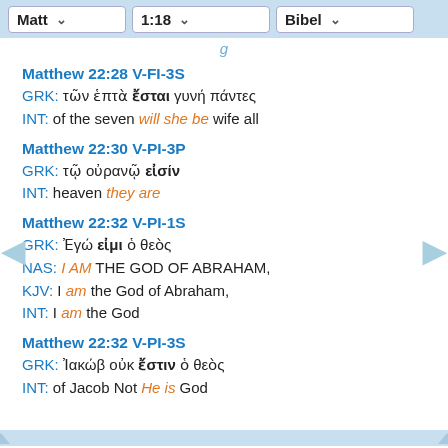Matt  1:18  Bibel
g
Matthew 22:28 V-FI-3S
GRK: τῶν ἑπτὰ ἔσται γυνή πάντες
INT: of the seven will she be wife all
Matthew 22:30 V-PI-3P
GRK: τῷ οὐρανῷ εἰσίν
INT: heaven they are
Matthew 22:32 V-PI-1S
GRK: Ἐγώ εἰμι ὁ θεὸς
NAS: I AM THE GOD OF ABRAHAM,
KJV: I am the God of Abraham,
INT: I am the God
Matthew 22:32 V-PI-3S
GRK: Ἰακώβ οὐκ ἔστιν ὁ θεὸς
INT: of Jacob Not He is God